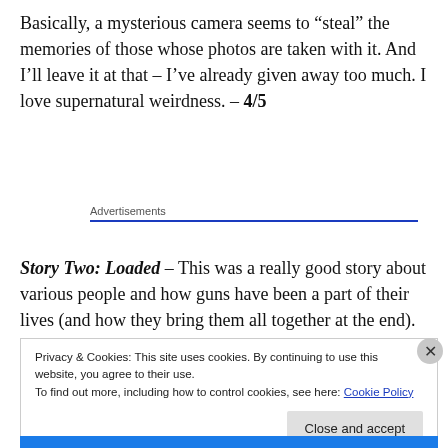Basically, a mysterious camera seems to “steal” the memories of those whose photos are taken with it. And I’ll leave it at that – I’ve already given away too much. I love supernatural weirdness. – 4/5
Advertisements
Story Two: Loaded – This was a really good story about various people and how guns have been a part of their lives (and how they bring them all together at the end).
Privacy & Cookies: This site uses cookies. By continuing to use this website, you agree to their use.
To find out more, including how to control cookies, see here: Cookie Policy